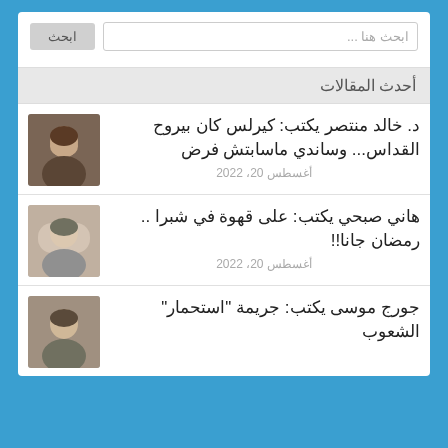ابحث هنا ...
ابحث
أحدث المقالات
د. خالد منتصر يكتب: كيرلس كان بيروح القداس... وساندي ماسابتش فرص
أغسطس 20، 2022
هاني صبحي يكتب: على قهوة في شبرا .. رمضان جانا!!
أغسطس 20، 2022
جورج موسى يكتب: جريمة "استحمار" الشعوب